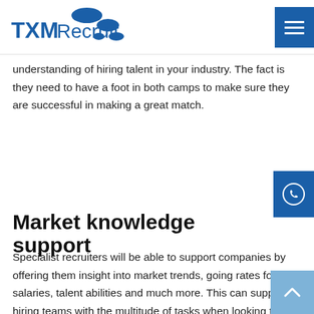TXMRecruit
understanding of hiring talent in your industry. The fact is they need to have a foot in both camps to make sure they are successful in making a great match.
Market knowledge support
Specialist recruiters will be able to support companies by offering them insight into market trends, going rates for salaries, talent abilities and much more. This can support hiring teams with the multitude of tasks when looking to fill roles.